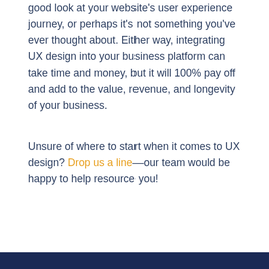good look at your website's user experience journey, or perhaps it's not something you've ever thought about. Either way, integrating UX design into your business platform can take time and money, but it will 100% pay off and add to the value, revenue, and longevity of your business.
Unsure of where to start when it comes to UX design? Drop us a line—our team would be happy to help resource you!